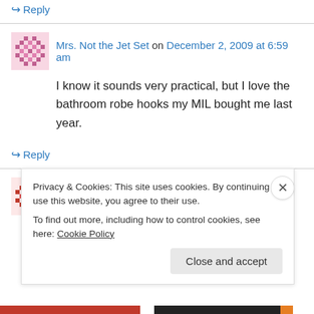↪ Reply
Mrs. Not the Jet Set on December 2, 2009 at 6:59 am
I know it sounds very practical, but I love the bathroom robe hooks my MIL bought me last year.
↪ Reply
Meghan on December 2, 2009 at 7:04 am
Privacy & Cookies: This site uses cookies. By continuing to use this website, you agree to their use. To find out more, including how to control cookies, see here: Cookie Policy
Close and accept